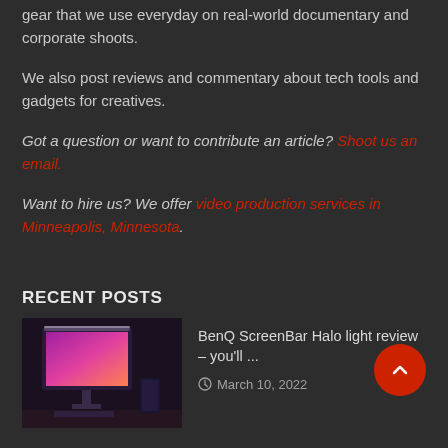gear that we use everyday on real-world documentary and corporate shoots.
We also post reviews and commentary about tech tools and gadgets for creatives.
Got a question or want to contribute an article? Shoot us an email.
Want to hire us? We offer video production services in Minneapolis, Minnesota.
RECENT POSTS
BenQ ScreenBar Halo light review – you'll ...
March 10, 2022